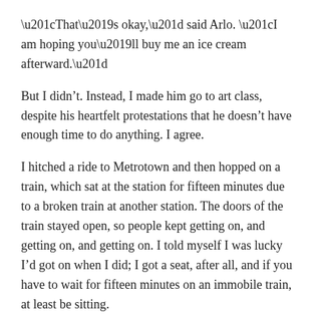“That’s okay,” said Arlo. “I am hoping you’ll buy me an ice cream afterward.”
But I didn’t. Instead, I made him go to art class, despite his heartfelt protestations that he doesn’t have enough time to do anything. I agree.
I hitched a ride to Metrotown and then hopped on a train, which sat at the station for fifteen minutes due to a broken train at another station. The doors of the train stayed open, so people kept getting on, and getting on, and getting on. I told myself I was lucky I’d got on when I did; I got a seat, after all, and if you have to wait for fifteen minutes on an immobile train, at least be sitting.
The novelty of the skytrain has almost worn off for me now that I take it every day. But I never do get a seat, so the seat novelty was still, well, novel.